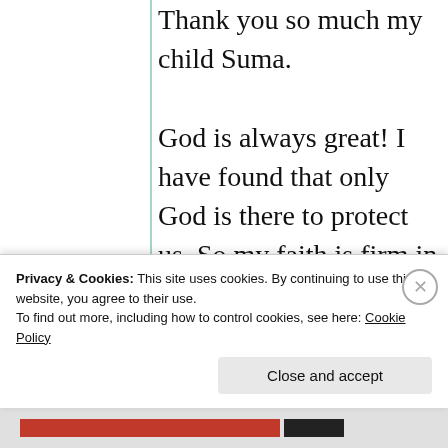Thank you so much my child Suma. God is always great! I have found that only God is there to protect us. So my faith is firm in God. You are very lucky child of God. So you are connected with God and God delivers His words through you to enlighten
Privacy & Cookies: This site uses cookies. By continuing to use this website, you agree to their use. To find out more, including how to control cookies, see here: Cookie Policy
Close and accept